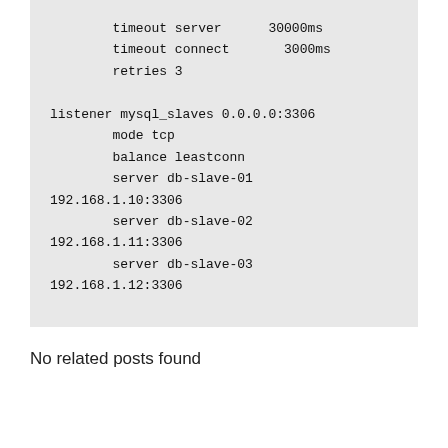timeout server      30000ms
        timeout connect       3000ms
        retries 3

listener mysql_slaves 0.0.0.0:3306
        mode tcp
        balance leastconn
        server db-slave-01 192.168.1.10:3306
        server db-slave-02 192.168.1.11:3306
        server db-slave-03 192.168.1.12:3306
No related posts found